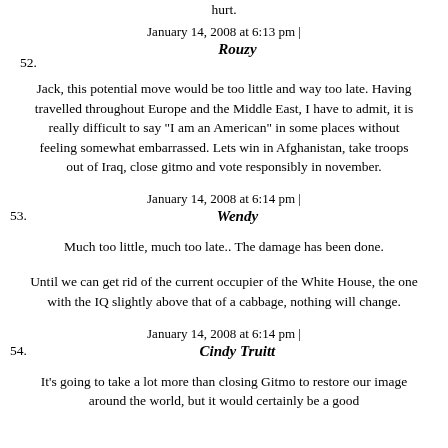hurt.
January 14, 2008 at 6:13 pm |
Rouzy
Jack, this potential move would be too little and way too late. Having travelled throughout Europe and the Middle East, I have to admit, it is really difficult to say "I am an American" in some places without feeling somewhat embarrassed. Lets win in Afghanistan, take troops out of Iraq, close gitmo and vote responsibly in november.
January 14, 2008 at 6:14 pm |
Wendy
Much too little, much too late.. The damage has been done.
Until we can get rid of the current occupier of the White House, the one with the IQ slightly above that of a cabbage, nothing will change.
January 14, 2008 at 6:14 pm |
Cindy Truitt
It's going to take a lot more than closing Gitmo to restore our image around the world, but it would certainly be a good